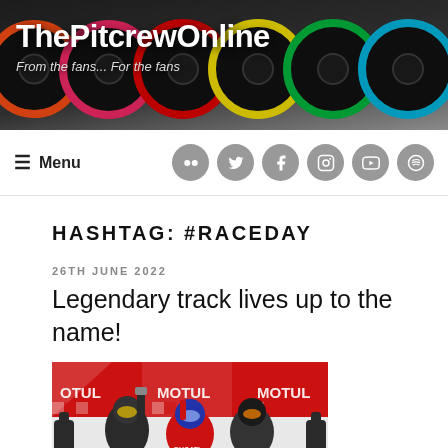[Figure (photo): ThePitcrewOnline website header banner with multiple racing tires and site logo/title]
ThePitcrewOnline — From the fans... For the fans
Menu (navigation bar with social icons for Flickr, Twitter, Facebook, Instagram, YouTube, Spotify)
HASHTAG: #RACEDAY
26TH JUNE 2022
Legendary track lives up to the name!
[Figure (photo): MotoGP podium celebration photo with three riders in front of MOTUL branded backdrop, with champagne bottles]